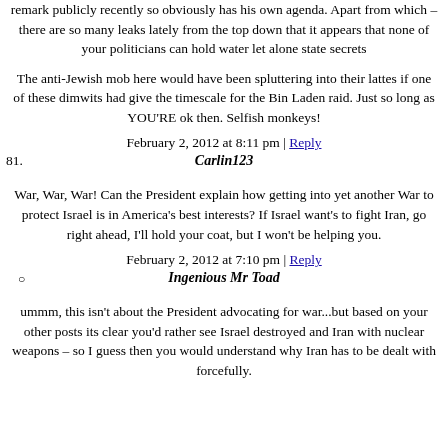remark publicly recently so obviously has his own agenda. Apart from which – there are so many leaks lately from the top down that it appears that none of your politicians can hold water let alone state secrets
The anti-Jewish mob here would have been spluttering into their lattes if one of these dimwits had give the timescale for the Bin Laden raid. Just so long as YOU'RE ok then. Selfish monkeys!
February 2, 2012 at 8:11 pm | Reply
81. Carlin123
War, War, War! Can the President explain how getting into yet another War to protect Israel is in America's best interests? If Israel want's to fight Iran, go right ahead, I'll hold your coat, but I won't be helping you.
February 2, 2012 at 7:10 pm | Reply
Ingenious Mr Toad
ummm, this isn't about the President advocating for war...but based on your other posts its clear you'd rather see Israel destroyed and Iran with nuclear weapons – so I guess then you would understand why Iran has to be dealt with forcefully.